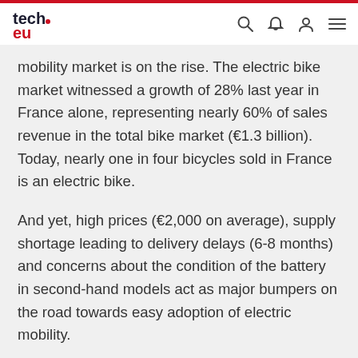tech.eu
mobility market is on the rise. The electric bike market witnessed a growth of 28% last year in France alone, representing nearly 60% of sales revenue in the total bike market (€1.3 billion). Today, nearly one in four bicycles sold in France is an electric bike.
And yet, high prices (€2,000 on average), supply shortage leading to delivery delays (6-8 months) and concerns about the condition of the battery in second-hand models act as major bumpers on the road towards easy adoption of electric mobility.